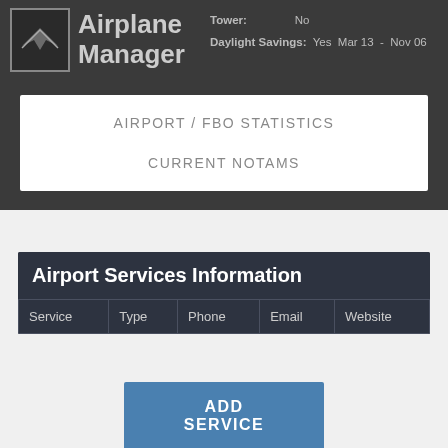[Figure (screenshot): Airplane Manager app logo with airplane icon and text 'Airplane Manager']
Tower: No
Daylight Savings: Yes  Mar 13  -  Nov 06
AIRPORT / FBO STATISTICS
CURRENT NOTAMS
Airport Services Information
| Service | Type | Phone | Email | Website |
| --- | --- | --- | --- | --- |
ADD SERVICE